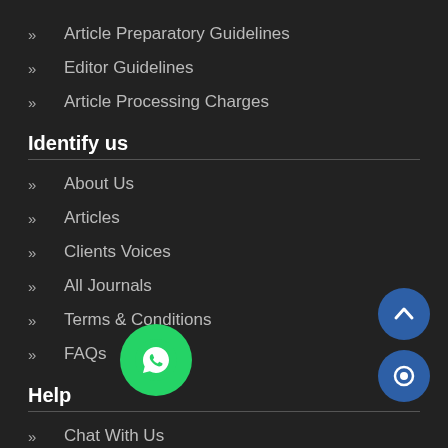Article Preparatory Guidelines
Editor Guidelines
Article Processing Charges
Identify us
About Us
Articles
Clients Voices
All Journals
Terms & Conditions
FAQs
Help
Chat With Us
Refund
Repri
e-Books